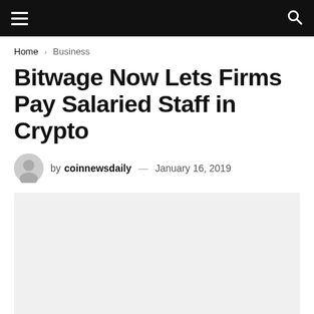Navigation bar with hamburger menu and search icon
Home > Business
Bitwage Now Lets Firms Pay Salaried Staff in Crypto
by coinnewsdaily — January 16, 2019
[Figure (photo): Article featured image placeholder (light gray background)]